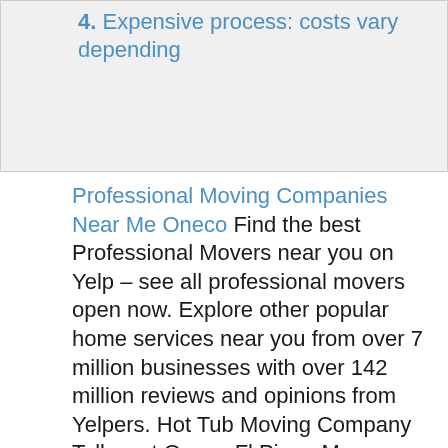4. Expensive process: costs vary depending
Professional Moving Companies Near Me Oneco Find the best Professional Movers near you on Yelp – see all professional movers open now. Explore other popular home services near you from over 7 million businesses with over 142 million reviews and opinions from Yelpers. Hot Tub Moving Company Tallevast Oneco Fl Piano Movers Near Me Piano Organ Moving in Oneco on YP.com.
Find a mover near Bradenton, FL. 47 near you ... Top 10 Movers near Bradenton, FL. Thumbtack ... Fast Moves did an excellent job for me in moving a piano.